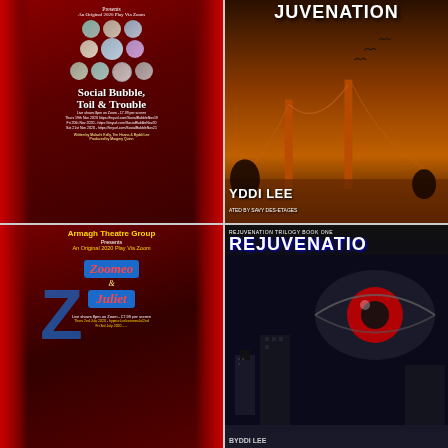[Figure (illustration): Theater poster for 'Social Bubble, Toil & Trouble' by Armagh Theatre Group. Red curtain background with circular cast headshots arranged in rows, title text in white bold serif font, show details and URLs at bottom.]
[Figure (illustration): Book cover for 'Rejuvenation' by Byddi Lee, narrated by Savy Des-Etages. Orange/red sky with Golden Gate Bridge and birds silhouettes.]
[Figure (illustration): Theater poster for 'Zoomeo & Juliet' by Armagh Theatre Group. Red curtain background with large blue Z letter, title in red italic on blue banners, show dates at bottom.]
[Figure (illustration): Book cover for 'Rejuvenation Trilogy Book One: Rejuvenation' by Byddi Lee. Dark blue/black background with close-up of eye with red iris, city skyline silhouette.]